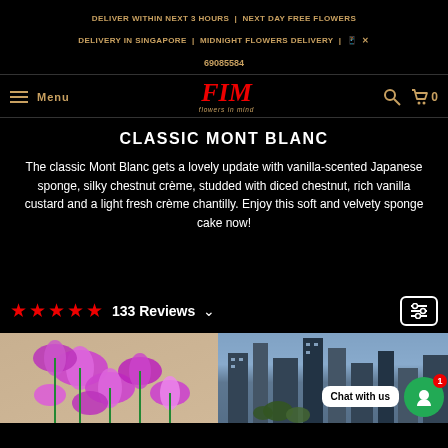DELIVER WITHIN NEXT 3 HOURS | NEXT DAY FREE FLOWERS DELIVERY IN SINGAPORE | MIDNIGHT FLOWERS DELIVERY | 📱 ✕ 69085584
[Figure (logo): FIM (Flowers in Mind) logo with hamburger menu, search icon, and cart icon showing 0 items]
CLASSIC MONT BLANC
The classic Mont Blanc gets a lovely update with vanilla-scented Japanese sponge, silky chestnut crème, studded with diced chestnut, rich vanilla custard and a light fresh crème chantilly. Enjoy this soft and velvety sponge cake now!
★★★★★ 133 Reviews ∨
[Figure (photo): Two photos side by side: left shows pink/magenta orchid flowers, right shows a city building with greenery. Chat widget with 'Chat with us' bubble and green avatar with badge showing 1.]